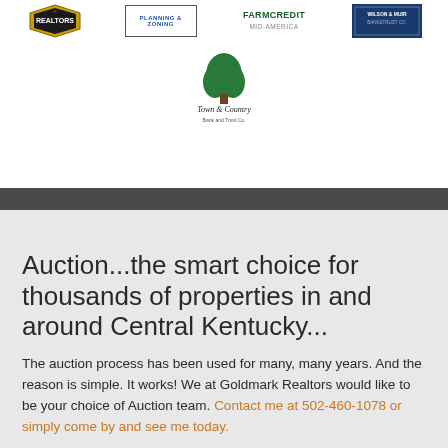[Figure (logo): Row of sponsor logos: Realtors, Planning & Zoning, FarmCredit Mid-America, Wilson & Muir Bank & Trust Co.]
[Figure (logo): Town & Country Bank and Trust Co. logo with tree graphic]
Auction...the smart choice for thousands of properties in and around Central Kentucky...
The auction process has been used for many, many years. And the reason is simple. It works! We at Goldmark Realtors would like to be your choice of Auction team. Contact me at 502-460-1078 or simply come by and see me today.